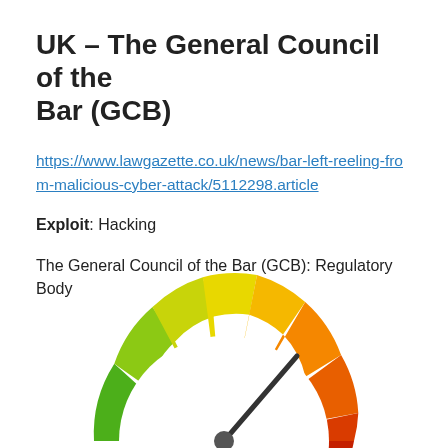UK – The General Council of the Bar (GCB)
https://www.lawgazette.co.uk/news/bar-left-reeling-from-malicious-cyber-attack/5112298.article
Exploit: Hacking
The General Council of the Bar (GCB): Regulatory Body
[Figure (other): Speedometer/gauge chart showing a risk or severity level, with colored arc segments from green (low) on the left through yellow, orange, and red (high) on the right. The needle points toward the red-orange zone indicating a high severity level.]